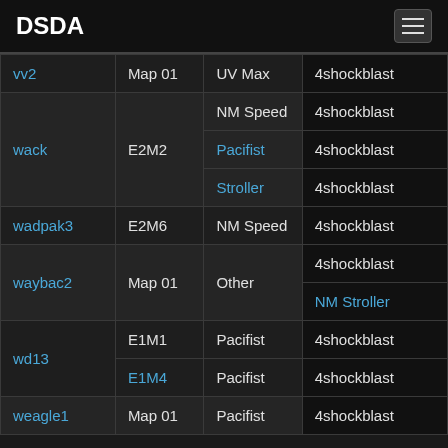DSDA
| WAD | Map | Category | Player |
| --- | --- | --- | --- |
| vv2 | Map 01 | UV Max | 4shockblast |
| wack | E2M2 | NM Speed | 4shockblast |
| wack | E2M2 | Pacifist | 4shockblast |
| wack | E2M2 | Stroller | 4shockblast |
| wadpak3 | E2M6 | NM Speed | 4shockblast |
| waybac2 | Map 01 | Other | 4shockblast |
| waybac2 | Map 01 | Other | NM Stroller |
| wd13 | E1M1 | Pacifist | 4shockblast |
| wd13 | E1M4 | Pacifist | 4shockblast |
| weagle1 | Map 01 | Pacifist | 4shockblast |